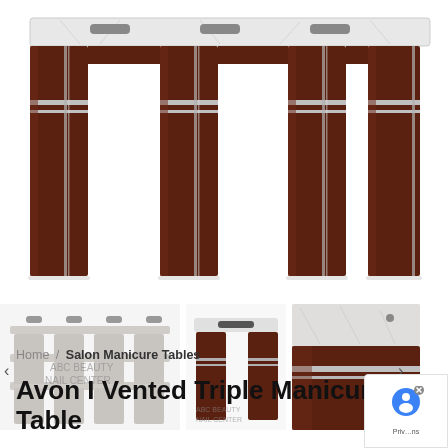[Figure (photo): Main product photo of the Avon I Vented Triple Manicure Table — a long triple-station nail table with dark walnut/mahogany finish, white marble-look top, chrome accent stripes on legs, and built-in ventilation slots on top]
[Figure (photo): Thumbnail row of three additional product angle photos: left shows underside/frame view of triple table; center shows single-station front view; right shows close-up corner detail with marble top and chrome stripe]
Home / Salon Manicure Tables
Avon I Vented Triple Manicure Table